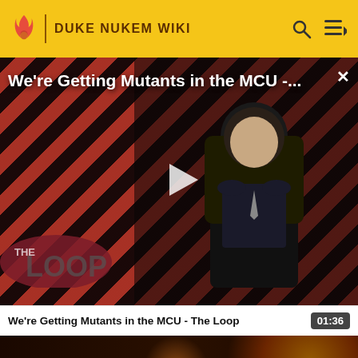DUKE NUKEM WIKI
We're Getting Mutants in the MCU -...
[Figure (screenshot): Video thumbnail showing a bald man in a suit seated in a chair, with red and black diagonal striped background and 'THE LOOP' logo overlay. A white play button triangle is centered on the image.]
We're Getting Mutants in the MCU - The Loop  01:36
[Figure (screenshot): Video thumbnail showing dark figures with colorful decorative elements. Title 'Enemies in Duke Nukem 3D' is overlaid at the bottom.]